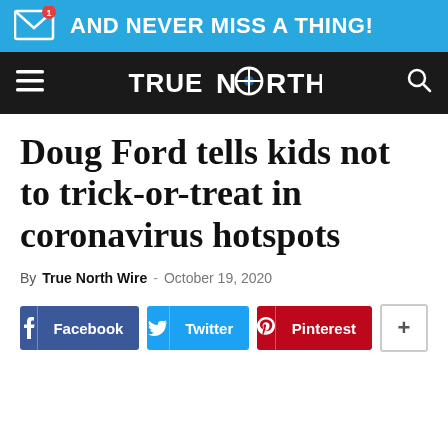[Figure (infographic): Blue subscription banner with envelope icon and text 'AND NEVER MISS A THING!']
TRUE NORTH
Doug Ford tells kids not to trick-or-treat in coronavirus hotspots
By True North Wire - October 19, 2020
[Figure (infographic): Social share buttons: Facebook, Twitter, Pinterest, and a plus/more button]